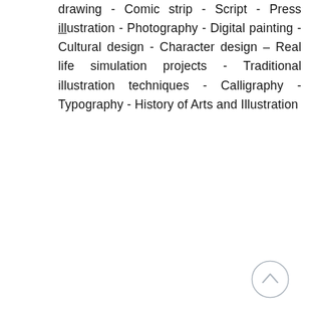drawing - Comic strip - Script - Press illustration - Photography - Digital painting - Cultural design - Character design – Real life simulation projects - Traditional illustration techniques - Calligraphy - Typography - History of Arts and Illustration
[Figure (other): A circular button with an upward-pointing chevron arrow, outlined in light gray, used as a scroll-to-top navigation element.]